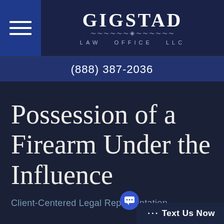[Figure (logo): Gigstad Law Office LLC logo with hamburger menu icon on dark navy background]
(888) 387-2036
Possession of a Firearm Under the Influence
Client-Centered Legal Representation
··· Text Us Now